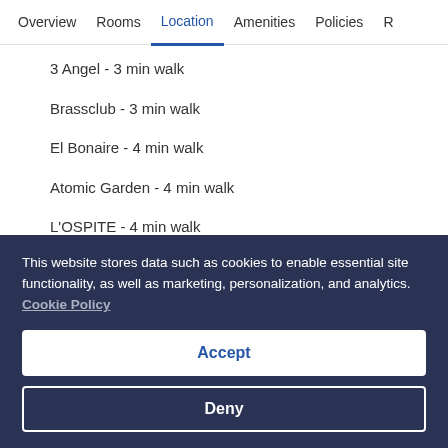Overview  Rooms  Location  Amenities  Policies  R
3 Angel - 3 min walk
Brassclub - 3 min walk
El Bonaire - 4 min walk
Atomic Garden - 4 min walk
L'OSPITE - 4 min walk
About this property
This website stores data such as cookies to enable essential site functionality, as well as marketing, personalization, and analytics. Cookie Policy
Accept
Deny